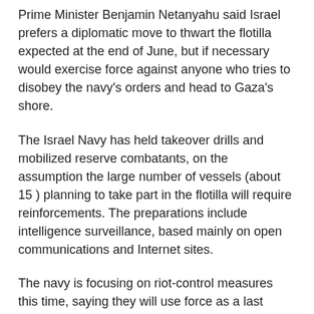Prime Minister Benjamin Netanyahu said Israel prefers a diplomatic move to thwart the flotilla expected at the end of June, but if necessary would exercise force against anyone who tries to disobey the navy's orders and head to Gaza's shore.
The Israel Navy has held takeover drills and mobilized reserve combatants, on the assumption the large number of vessels (about 15 ) planning to take part in the flotilla will require reinforcements. The preparations include intelligence surveillance, based mainly on open communications and Internet sites.
The navy is focusing on riot-control measures this time, saying they will use force as a last resort.
Israeli defense sources said recently that despite addressing flaws in the previous flotilla takeover, there is no alternative to taking over the boats and protesters by force – barring an agreement that would cancel the flotilla.
Former Chief of Staff Gabi Ashkenazi testified before the